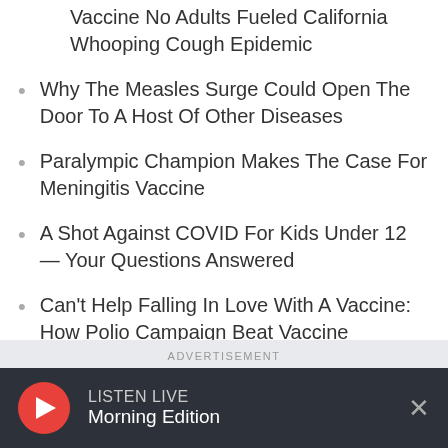Vaccine No Adults Fueled California Whooping Cough Epidemic
Why The Measles Surge Could Open The Door To A Host Of Other Diseases
Paralympic Champion Makes The Case For Meningitis Vaccine
A Shot Against COVID For Kids Under 12 — Your Questions Answered
Can't Help Falling In Love With A Vaccine: How Polio Campaign Beat Vaccine Hesitancy
5 Medical Appointments You Should Stop Putting Off
ADVERTISEMENT
[Figure (screenshot): Advertisement banner image with blue background and red/white boxes]
LISTEN LIVE Morning Edition